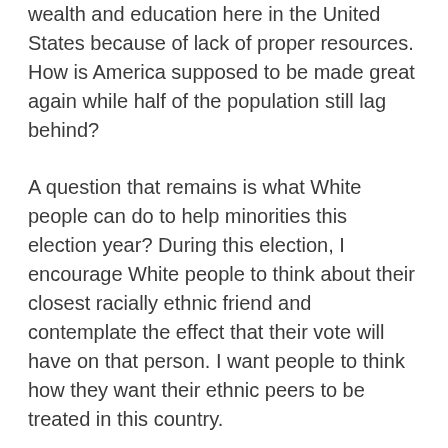wealth and education here in the United States because of lack of proper resources. How is America supposed to be made great again while half of the population still lag behind?
A question that remains is what White people can do to help minorities this election year? During this election, I encourage White people to think about their closest racially ethnic friend and contemplate the effect that their vote will have on that person. I want people to think how they want their ethnic peers to be treated in this country.
White people must also recognize their privilege. White privilege is the phenomenon that having “white” skin in the United States opens many doors or opportunities that are often closed off to ethnic minorities, according to Peggy McIntosh, an anti-racism activist, in her article “White Privilege: Unpacking the Invisible Knapsack”